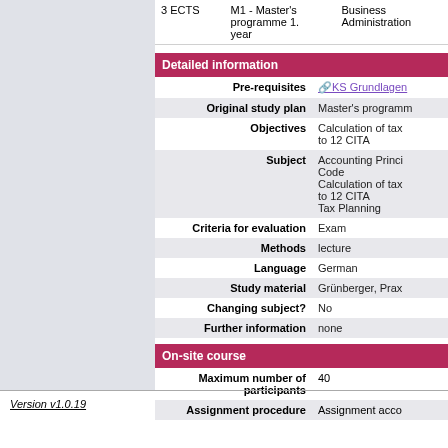| ECTS | Programme | Department |
| --- | --- | --- |
| 3 ECTS | M1 - Master's programme 1. year | Business Administration |
Detailed information
| Field | Value |
| --- | --- |
| Pre-requisites | KS Grundlagen |
| Original study plan | Master's programme |
| Objectives | Calculation of tax to 12 CITA |
| Subject | Accounting Principles Code
Calculation of tax to 12 CITA
Tax Planning |
| Criteria for evaluation | Exam |
| Methods | lecture |
| Language | German |
| Study material | Grünberger, Prax |
| Changing subject? | No |
| Further information | none |
On-site course
| Field | Value |
| --- | --- |
| Maximum number of participants | 40 |
| Assignment procedure | Assignment acco |
Version v1.0.19